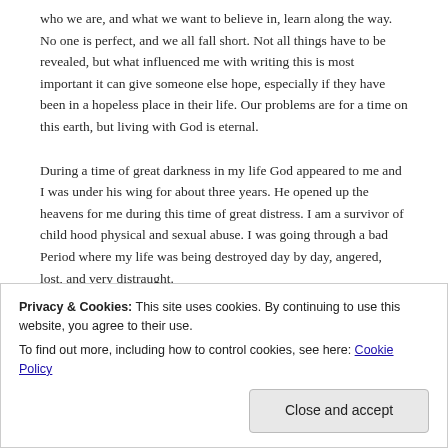who we are, and what we want to believe in, learn along the way. No one is perfect, and we all fall short. Not all things have to be revealed, but what influenced me with writing this is most important it can give someone else hope, especially if they have been in a hopeless place in their life. Our problems are for a time on this earth, but living with God is eternal.
During a time of great darkness in my life God appeared to me and I was under his wing for about three years. He opened up the heavens for me during this time of great distress. I am a survivor of child hood physical and sexual abuse. I was going through a bad Period where my life was being destroyed day by day, angered, lost, and very distraught. I hit rock bottom and was addicted to drugs for about two
looking like an arc to fame, Don't blame me for you putting
Privacy & Cookies: This site uses cookies. By continuing to use this website, you agree to their use.
To find out more, including how to control cookies, see here: Cookie Policy